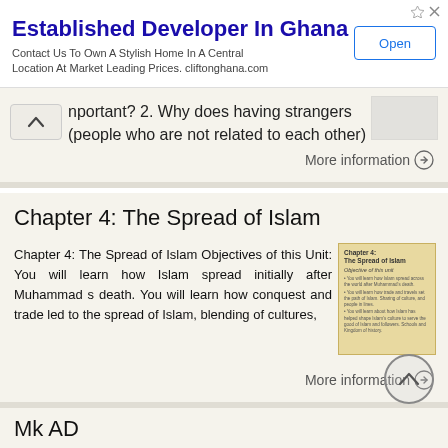[Figure (screenshot): Advertisement banner: 'Established Developer In Ghana' with Open button]
Established Developer In Ghana
Contact Us To Own A Stylish Home In A Central Location At Market Leading Prices. cliftonghana.com
nportant? 2. Why does having strangers (people who are not related to each other)
More information →
Chapter 4: The Spread of Islam
Chapter 4: The Spread of Islam Objectives of this Unit: You will learn how Islam spread initially after Muhammad s death. You will learn how conquest and trade led to the spread of Islam, blending of cultures,
[Figure (screenshot): Small thumbnail image of Chapter 4: The Spread of Islam document page]
More information →
Mk AD